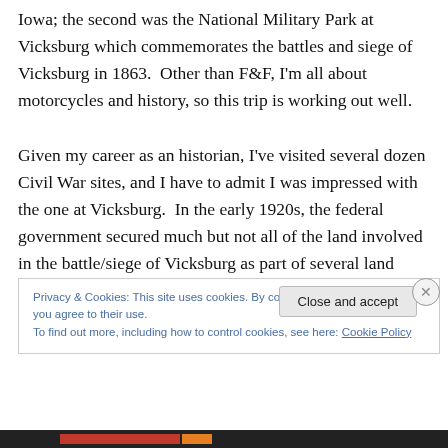Iowa; the second was the National Military Park at Vicksburg which commemorates the battles and siege of Vicksburg in 1863.  Other than F&F, I'm all about motorcycles and history, so this trip is working out well.

Given my career as an historian, I've visited several dozen Civil War sites, and I have to admit I was impressed with the one at Vicksburg.  In the early 1920s, the federal government secured much but not all of the land involved in the battle/siege of Vicksburg as part of several land swaps.  As a result, visitors today can drive a loop road
Privacy & Cookies: This site uses cookies. By continuing to use this website, you agree to their use.
To find out more, including how to control cookies, see here: Cookie Policy
Close and accept